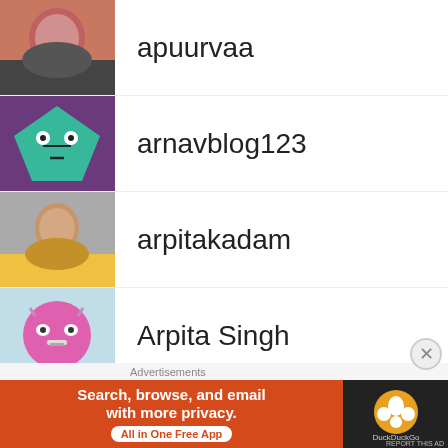apuurvaa
arnavblog123
arpitakadam
Arpita Singh
articlesbyyesha
arunimasamanta
aryanka123
ashikaim
Advertisements
[Figure (screenshot): DuckDuckGo advertisement banner: Search, browse, and email with more privacy. All in One Free App]